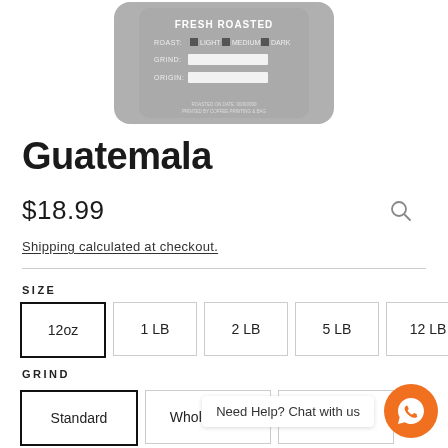[Figure (photo): Product image of coffee bag label showing FRESH ROASTED with ROAST: LIGHT MEDIUM DARK options, GRIND and ORIGIN fields, displayed on a gray rounded rectangle bag silhouette]
Guatemala
$18.99
Shipping calculated at checkout.
SIZE
12oz
1 LB
2 LB
5 LB
12 LB
GRIND
Standard
Whole Bean
Espresso